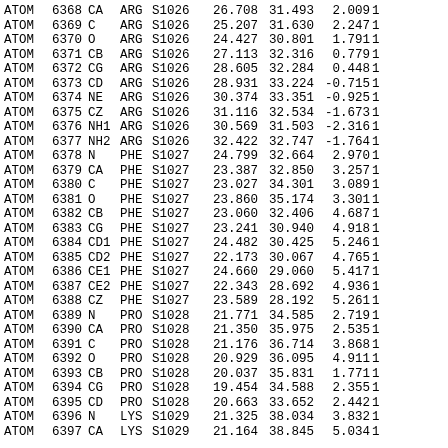| type | num | atom | res | chain | x | y | z | ... |
| --- | --- | --- | --- | --- | --- | --- | --- | --- |
| ATOM | 6368 | CA | ARG | S1026 | 26.708 | 31.493 | 2.009 | 1 |
| ATOM | 6369 | C | ARG | S1026 | 25.207 | 31.630 | 2.247 | 1 |
| ATOM | 6370 | O | ARG | S1026 | 24.427 | 30.801 | 1.791 | 1 |
| ATOM | 6371 | CB | ARG | S1026 | 27.113 | 32.316 | 0.779 | 1 |
| ATOM | 6372 | CG | ARG | S1026 | 28.605 | 32.284 | 0.448 | 1 |
| ATOM | 6373 | CD | ARG | S1026 | 28.931 | 33.224 | -0.715 | 1 |
| ATOM | 6374 | NE | ARG | S1026 | 30.374 | 33.351 | -0.925 | 1 |
| ATOM | 6375 | CZ | ARG | S1026 | 31.116 | 32.534 | -1.673 | 1 |
| ATOM | 6376 | NH1 | ARG | S1026 | 30.569 | 31.503 | -2.316 | 1 |
| ATOM | 6377 | NH2 | ARG | S1026 | 32.422 | 32.747 | -1.764 | 1 |
| ATOM | 6378 | N | PHE | S1027 | 24.799 | 32.664 | 2.970 | 1 |
| ATOM | 6379 | CA | PHE | S1027 | 23.387 | 32.850 | 3.257 | 1 |
| ATOM | 6380 | C | PHE | S1027 | 23.027 | 34.301 | 3.089 | 1 |
| ATOM | 6381 | O | PHE | S1027 | 23.860 | 35.174 | 3.301 | 1 |
| ATOM | 6382 | CB | PHE | S1027 | 23.060 | 32.406 | 4.687 | 1 |
| ATOM | 6383 | CG | PHE | S1027 | 23.241 | 30.940 | 4.918 | 1 |
| ATOM | 6384 | CD1 | PHE | S1027 | 24.482 | 30.425 | 5.246 | 1 |
| ATOM | 6385 | CD2 | PHE | S1027 | 22.173 | 30.067 | 4.765 | 1 |
| ATOM | 6386 | CE1 | PHE | S1027 | 24.660 | 29.060 | 5.417 | 1 |
| ATOM | 6387 | CE2 | PHE | S1027 | 22.343 | 28.692 | 4.936 | 1 |
| ATOM | 6388 | CZ | PHE | S1027 | 23.589 | 28.192 | 5.261 | 1 |
| ATOM | 6389 | N | PRO | S1028 | 21.771 | 34.585 | 2.719 | 1 |
| ATOM | 6390 | CA | PRO | S1028 | 21.350 | 35.975 | 2.535 | 1 |
| ATOM | 6391 | C | PRO | S1028 | 21.176 | 36.714 | 3.868 | 1 |
| ATOM | 6392 | O | PRO | S1028 | 20.929 | 36.095 | 4.911 | 1 |
| ATOM | 6393 | CB | PRO | S1028 | 20.037 | 35.831 | 1.771 | 1 |
| ATOM | 6394 | CG | PRO | S1028 | 19.454 | 34.588 | 2.355 | 1 |
| ATOM | 6395 | CD | PRO | S1028 | 20.663 | 33.652 | 2.442 | 1 |
| ATOM | 6396 | N | LYS | S1029 | 21.325 | 38.034 | 3.832 | 1 |
| ATOM | 6397 | CA | LYS | S1029 | 21.164 | 38.845 | 5.034 | 1 |